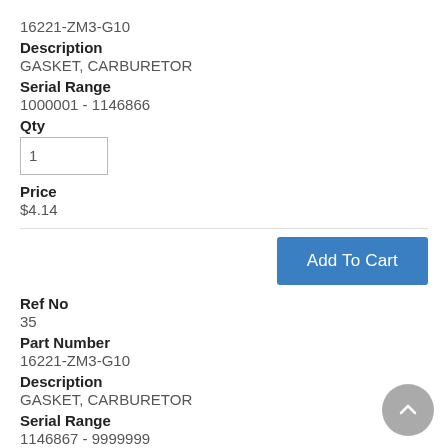16221-ZM3-G10
Description
GASKET, CARBURETOR
Serial Range
1000001 - 1146866
Qty
1
Price
$4.14
Add To Cart
Ref No
35
Part Number
16221-ZM3-G10
Description
GASKET, CARBURETOR
Serial Range
1146867 - 9999999
Qty